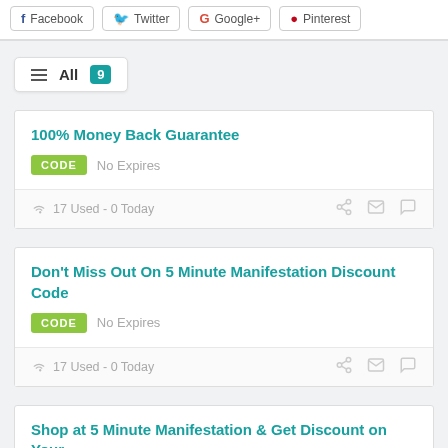[Figure (screenshot): Social share buttons: Facebook, Twitter, Google+, Pinterest]
≡  All  9
100% Money Back Guarantee
CODE   No Expires
17 Used - 0 Today
Don't Miss Out On 5 Minute Manifestation Discount Code
CODE   No Expires
17 Used - 0 Today
Shop at 5 Minute Manifestation & Get Discount on Your